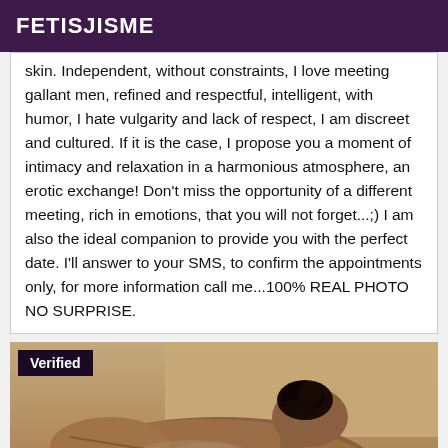FETISJISME
skin. Independent, without constraints, I love meeting gallant men, refined and respectful, intelligent, with humor, I hate vulgarity and lack of respect, I am discreet and cultured. If it is the case, I propose you a moment of intimacy and relaxation in a harmonious atmosphere, an erotic exchange! Don't miss the opportunity of a different meeting, rich in emotions, that you will not forget...;) I am also the ideal companion to provide you with the perfect date. I'll answer to your SMS, to confirm the appointments only, for more information call me...100% REAL PHOTO NO SURPRISE.
[Figure (photo): A person receiving a massage, lying face down with dark hair in a bun, with a red-sleeved hand visible performing the massage. A 'Verified' badge overlays the top-left corner.]